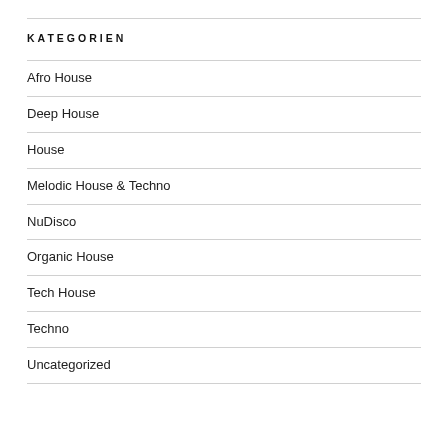Contact
KATEGORIEN
Afro House
Deep House
House
Melodic House & Techno
NuDisco
Organic House
Tech House
Techno
Uncategorized